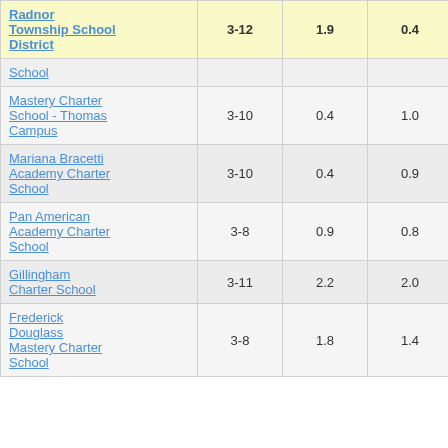| School | Grades | Col3 | Col4 | Score |
| --- | --- | --- | --- | --- |
| Radnor Township School District | 3-12 | 1.9 | 0.4 | 4.23 |
| School |  |  |  |  |
| Mastery Charter School - Thomas Campus | 3-10 | 0.4 | 1.0 | 0.38 |
| Mariana Bracetti Academy Charter School | 3-10 | 0.4 | 0.9 | 0.41 |
| Pan American Academy Charter School | 3-8 | 0.9 | 0.8 | 1.08 |
| Gillingham Charter School | 3-11 | 2.2 | 2.0 | 1.08 |
| Frederick Douglass Mastery Charter School | 3-8 | 1.8 | 1.4 | 1.32 |